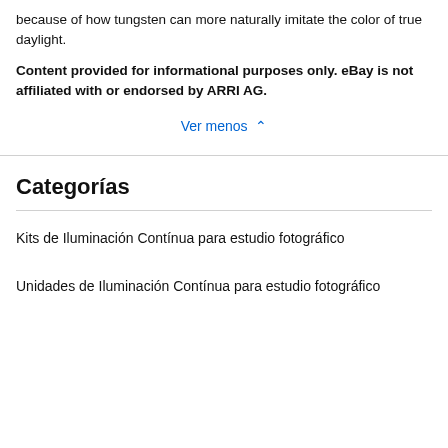because of how tungsten can more naturally imitate the color of true daylight.
Content provided for informational purposes only. eBay is not affiliated with or endorsed by ARRI AG.
Ver menos ∧
Categorías
Kits de Iluminación Contínua para estudio fotográfico
Unidades de Iluminación Contínua para estudio fotográfico